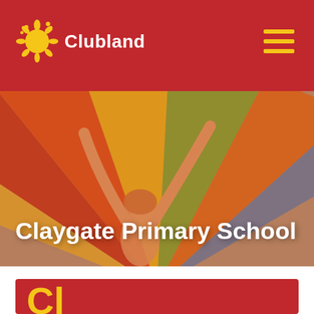Clubland
[Figure (photo): Child with arms raised holding a colorful rainbow parachute/fabric outdoors, with warm orange/red color overlay]
Claygate Primary School
Cl...